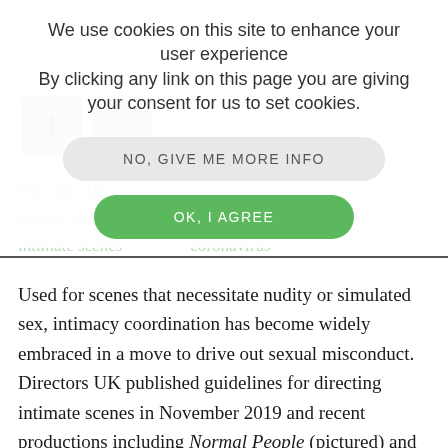[Figure (screenshot): Cookie consent overlay with message 'We use cookies on this site to enhance your user experience. By clicking any link on this page you are giving your consent for us to set cookies.' Two buttons: 'NO, GIVE ME MORE INFO' (grey) and 'OK, I AGREE' (green). Behind the overlay are faint social media icons and partially visible article text.]
Used for scenes that necessitate nudity or simulated sex, intimacy coordination has become widely embraced in a move to drive out sexual misconduct. Directors UK published guidelines for directing intimate scenes in November 2019 and recent productions including Normal People (pictured) and White Lines have used intimacy coordination on set. Covid-19 has introduced another layer of